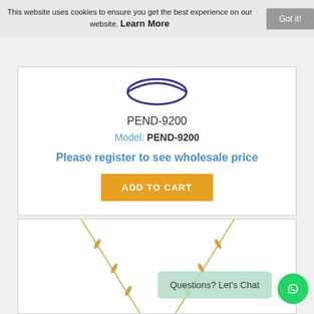This website uses cookies to ensure you get the best experience on our website. Learn More
Got it!
PEND-9200
Model: PEND-9200
Please register to see wholesale price
ADD TO CART
[Figure (photo): Gold necklace with thin chain visible from top portion]
Questions? Let's Chat